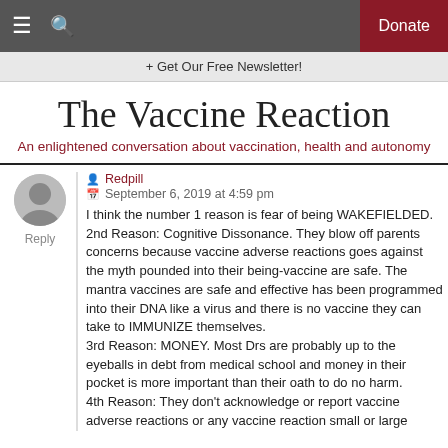The Vaccine Reaction — site navigation bar with Donate button
+ Get Our Free Newsletter!
The Vaccine Reaction
An enlightened conversation about vaccination, health and autonomy
Redpill
September 6, 2019 at 4:59 pm
Reply
I think the number 1 reason is fear of being WAKEFIELDED.
2nd Reason: Cognitive Dissonance. They blow off parents concerns because vaccine adverse reactions goes against the myth pounded into their being-vaccine are safe. The mantra vaccines are safe and effective has been programmed into their DNA like a virus and there is no vaccine they can take to IMMUNIZE themselves.
3rd Reason: MONEY. Most Drs are probably up to the eyeballs in debt from medical school and money in their pocket is more important than their oath to do no harm.
4th Reason: They don't acknowledge or report vaccine adverse reactions or any vaccine reaction small or large